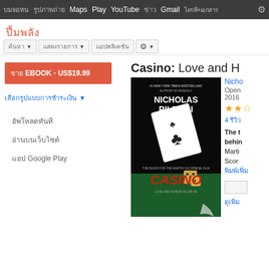Maps Play YouTube Gmail
xxxxxxxx
xxxxxxxxxx ▼
xxxxxxxxxxxxxxxxxxxxxxxxxx ▼
xxxxxxxxxxxxxx
⚙ ▼
xxxx EBOOK - US$19.99
xxxxxxxxxxxxxxxxxxxxxxxxxxxxxxxx ▼
xxxxxxxxxx
xxxxxxxxxxxxx
xxxxxxxxx Google Play
Casino: Love and H
Nicho
Open 2016
★★★
4 xxxx
[Figure (photo): Book cover of Casino: Love and Honor in Las Vegas by Nicholas Pileggi. Black background, playing card, dice, text NICHOLAS PILEGGI THE BASIS FOR THE MARTIN SCORSESE FILM CASINO LOVE AND HONOR IN LAS VEGAS]
The t behind Marti Scor xxxxxxx